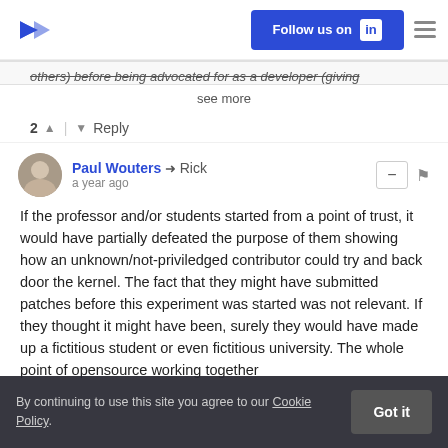Follow us on LinkedIn
others) before being advocated for as a developer (giving
see more
2 ∧ | ∨ Reply
Paul Wouters → Rick
a year ago
If the professor and/or students started from a point of trust, it would have partially defeated the purpose of them showing how an unknown/not-priviledged contributor could try and back door the kernel. The fact that they might have submitted patches before this experiment was started was not relevant. If they thought it might have been, surely they would have made up a fictitious student or even fictitious university. The whole point of opensource working together
By continuing to use this site you agree to our Cookie Policy.